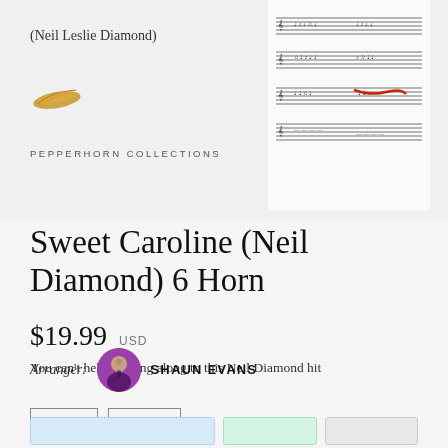(Neil Leslie Diamond)
[Figure (illustration): Small golden feather/quill logo for Pepperhorn Collections]
PEPPERHORN COLLECTIONS
[Figure (photo): Sheet music preview showing musical notation for Sweet Caroline 6 Horn arrangement]
Sweet Caroline (Neil Diamond) 6 Horn
$19.99 USD
You can't help but sing along to this Neil Diamond hit
1970S
SWING
Arranger: SHAUN EVANS
[Figure (photo): Circular portrait photo of arranger Shaun Evans]